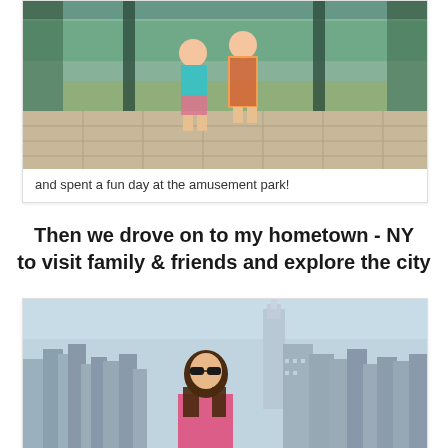[Figure (photo): Two young girls posing together in a park pavilion area with trees and greenery in background, sunny day]
and spent a fun day at the amusement park!
Then we drove on to my hometown - NY to visit family & friends and explore the city
[Figure (photo): Woman with sunglasses standing in front of the New York City skyline featuring the Empire State Building, viewed from a high vantage point]